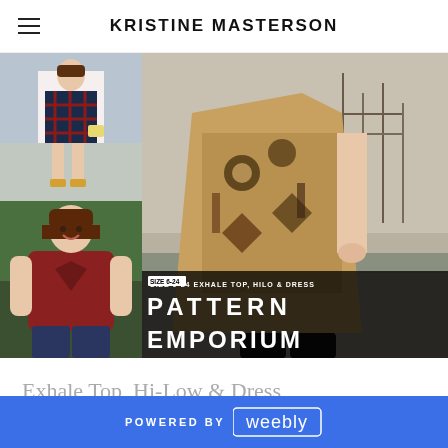KRISTINE MASTERSON
[Figure (photo): Collage of fashion photos: top-left shows woman in plaid dress, bottom-left shows woman in burgundy sleeveless top, right side shows large image of woman wearing patterned kimono over black jeans with Pattern Emporium branding overlay reading SIZE 6-24 EXHALE TOP, HILO & DRESS / PATTERN EMPORIUM]
Exhale Top, Hi-Low & Dress
POWERED BY weebly